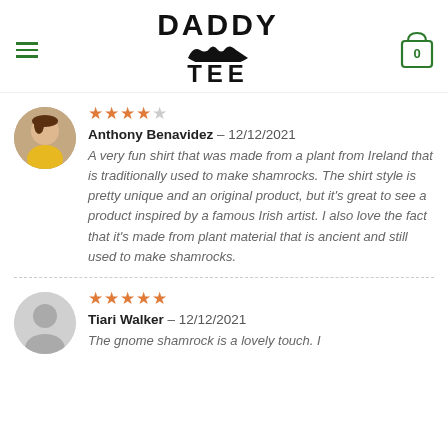DADDY TEE logo with hamburger menu and cart icon
Anthony Benavidez – 12/12/2021 | 4 stars | A very fun shirt that was made from a plant from Ireland that is traditionally used to make shamrocks. The shirt style is pretty unique and an original product, but it's great to see a product inspired by a famous Irish artist. I also love the fact that it's made from plant material that is ancient and still used to make shamrocks.
Tiari Walker – 12/12/2021 | 5 stars | The gnome shamrock is a lovely touch. I